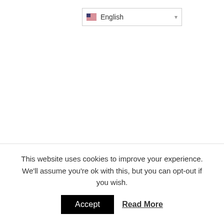[Figure (screenshot): Language selector dropdown showing US flag and 'English' text with dropdown arrow]
Another magazine you can write for in the business niche is Bloom Magazine. They
This website uses cookies to improve your experience. We'll assume you're ok with this, but you can opt-out if you wish.
Accept   Read More